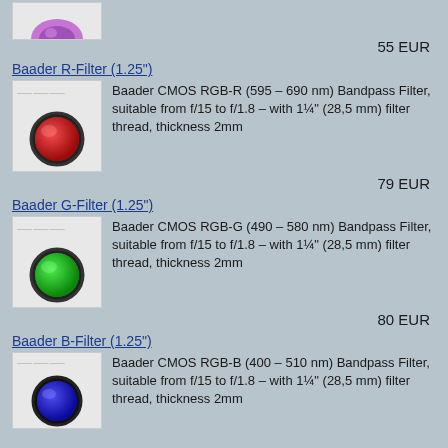55 EUR
Baader R-Filter (1.25")
Baader CMOS RGB-R (595 – 690 nm) Bandpass Filter, suitable from f/15 to f/1.8 – with 1¼" (28,5 mm) filter thread, thickness 2mm
79 EUR
Baader G-Filter (1.25")
Baader CMOS RGB-G (490 – 580 nm) Bandpass Filter, suitable from f/15 to f/1.8 – with 1¼" (28,5 mm) filter thread, thickness 2mm
80 EUR
Baader B-Filter (1.25")
Baader CMOS RGB-B (400 – 510 nm) Bandpass Filter, suitable from f/15 to f/1.8 – with 1¼" (28,5 mm) filter thread, thickness 2mm